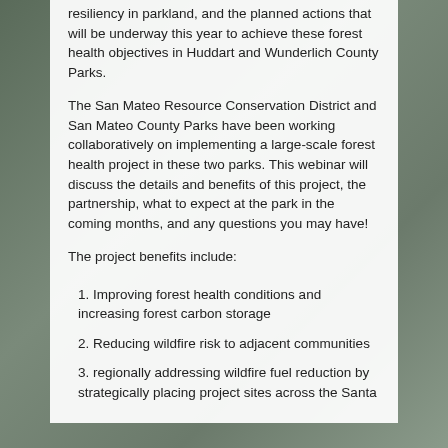Join us for a meeting to discuss forest health and resiliency in parkland, and the planned actions that will be underway this year to achieve these forest health objectives in Huddart and Wunderlich County Parks.
The San Mateo Resource Conservation District and San Mateo County Parks have been working collaboratively on implementing a large-scale forest health project in these two parks. This webinar will discuss the details and benefits of this project, the partnership, what to expect at the park in the coming months, and any questions you may have!
The project benefits include:
1. Improving forest health conditions and increasing forest carbon storage
2. Reducing wildfire risk to adjacent communities
3. regionally addressing wildfire fuel reduction by strategically placing project sites across the Santa